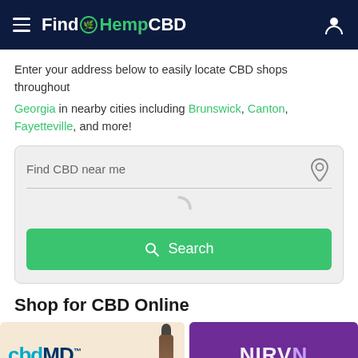FindHempCBD
Enter your address below to easily locate CBD shops throughout Georgia in nearby cities including Brunswick, Canton, Fayetteville, and more!
[Figure (screenshot): Search box with 'Find CBD near me' placeholder text, a location icon, a loading spinner, and a green Search button]
Shop for CBD Online
[Figure (photo): Two product brand images: cbdMD on left with a dropper bottle, and NIRV on right with purple background]